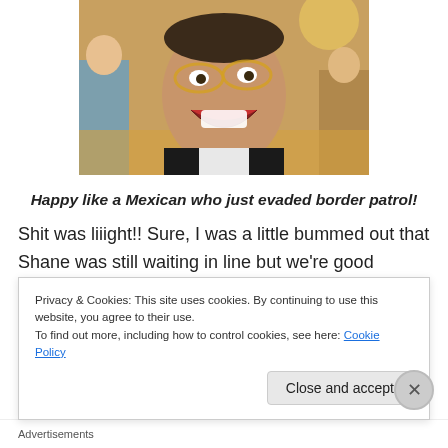[Figure (photo): A smiling man with glasses laughing outdoors at what appears to be a race or public event, with people visible in the background.]
Happy like a Mexican who just evaded border patrol!
Shit was liiight!! Sure, I was a little bummed out that Shane was still waiting in line but we're good enough buddies that I knew he wouldn't begrudge me for doing
Privacy & Cookies: This site uses cookies. By continuing to use this website, you agree to their use.
To find out more, including how to control cookies, see here: Cookie Policy
Close and accept
Advertisements